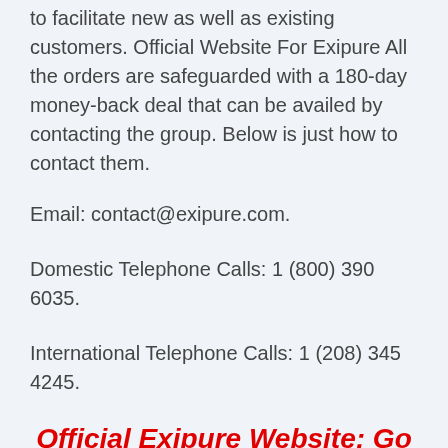to facilitate new as well as existing customers. Official Website For Exipure All the orders are safeguarded with a 180-day money-back deal that can be availed by contacting the group. Below is just how to contact them.
Email: contact@exipure.com.
Domestic Telephone Calls: 1 (800) 390 6035.
International Telephone Calls: 1 (208) 345 4245.
Official Exipure Website: Go Here For Up To 50% Off!